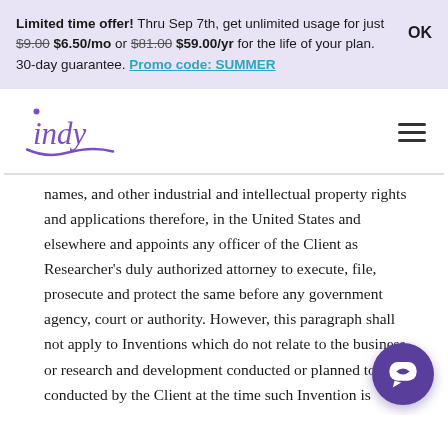Limited time offer! Thru Sep 7th, get unlimited usage for just $9.00 $6.50/mo or $81.00 $59.00/yr for the life of your plan. 30-day guarantee. Promo code: SUMMER   OK
[Figure (logo): Indy logo in purple cursive script with decorative swash]
names, and other industrial and intellectual property rights and applications therefore, in the United States and elsewhere and appoints any officer of the Client as Researcher's duly authorized attorney to execute, file, prosecute and protect the same before any government agency, court or authority. However, this paragraph shall not apply to Inventions which do not relate to the business or research and development conducted or planned to be conducted by the Client at the time such Invention is created, made, conceived or reduced to practice and which are made and conceived by the Researcher without the use of